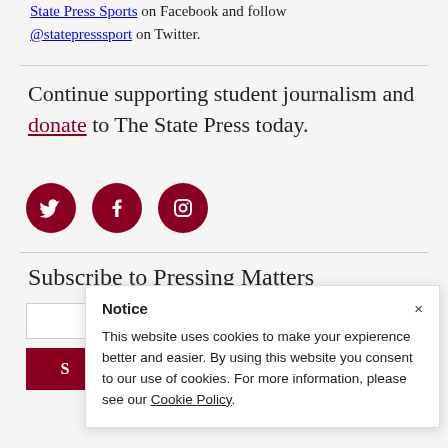Like State Press Sports on Facebook and follow @statepresssport on Twitter.
Continue supporting student journalism and donate to The State Press today.
[Figure (illustration): Three dark red circular social media icons for Twitter, Facebook, and Instagram]
Subscribe to Pressing Matters
Notice
This website uses cookies to make your expierence better and easier. By using this website you consent to our use of cookies. For more information, please see our Cookie Policy.